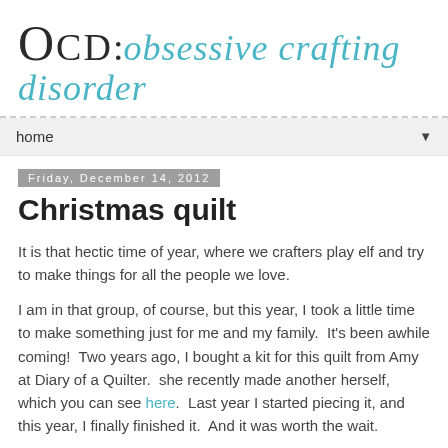OCD: obsessive crafting disorder
home
Friday, December 14, 2012
Christmas quilt
It is that hectic time of year, where we crafters play elf and try to make things for all the people we love.
I am in that group, of course, but this year, I took a little time to make something just for me and my family.  It's been awhile coming!  Two years ago, I bought a kit for this quilt from Amy at Diary of a Quilter.  she recently made another herself, which you can see here.  Last year I started piecing it, and this year, I finally finished it.  And it was worth the wait.